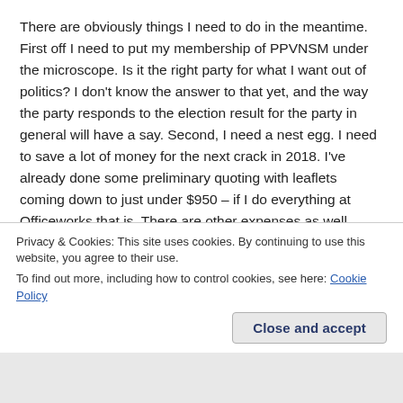There are obviously things I need to do in the meantime. First off I need to put my membership of PPVNSM under the microscope. Is it the right party for what I want out of politics? I don't know the answer to that yet, and the way the party responds to the election result for the party in general will have a say. Second, I need a nest egg. I need to save a lot of money for the next crack in 2018. I've already done some preliminary quoting with leaflets coming down to just under $950 – if I do everything at Officeworks that is. There are other expenses as well. There is also the issue of clearing my name in certain respects in Google search. That will take some work. It also means that all future contributions I make in terms of legal (Canby for instance) and political require my name to be in public. I
Privacy & Cookies: This site uses cookies. By continuing to use this website, you agree to their use.
To find out more, including how to control cookies, see here: Cookie Policy
Close and accept